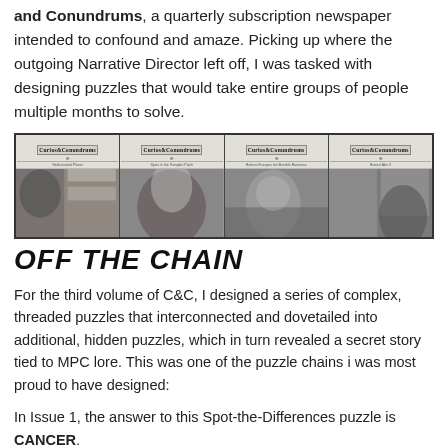and Conundrums, a quarterly subscription newspaper intended to confound and amaze. Picking up where the outgoing Narrative Director left off, I was tasked with designing puzzles that would take entire groups of people multiple months to solve.
[Figure (photo): A horizontal strip of four black-and-white newspaper front pages, each with the 'Curios & Conundrums' masthead at the top and a photograph below.]
OFF THE CHAIN
For the third volume of C&C, I designed a series of complex, threaded puzzles that interconnected and dovetailed into additional, hidden puzzles, which in turn revealed a secret story tied to MPC lore. This was one of the puzzle chains i was most proud to have designed:
In Issue 1, the answer to this Spot-the-Differences puzzle is CANCER.